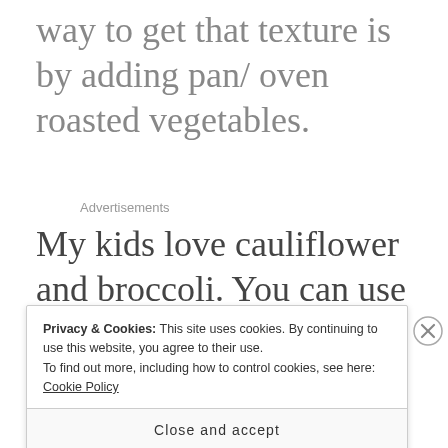way to get that texture is by adding pan/ oven roasted vegetables.
Advertisements
My kids love cauliflower and broccoli. You can use any veggies of your
Privacy & Cookies: This site uses cookies. By continuing to use this website, you agree to their use. To find out more, including how to control cookies, see here: Cookie Policy
Close and accept